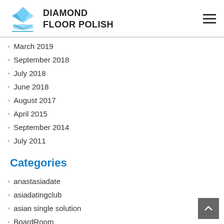[Figure (logo): Diamond Floor Polish logo with blue crystal/diamond icon and bold brand name text]
March 2019
September 2018
July 2018
June 2018
August 2017
April 2015
September 2014
July 2011
Categories
anastasiadate
asiadatingclub
asian single solution
BoardRoom